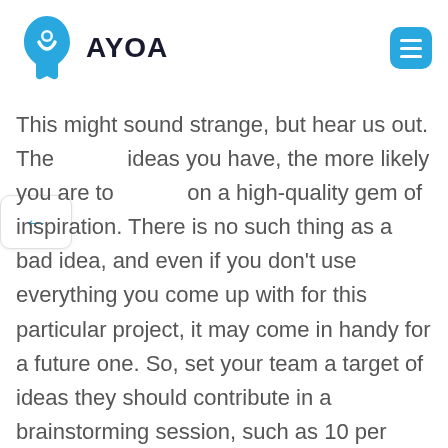AYOA
This might sound strange, but hear us out. The ideas you have, the more likely you are to on a high-quality gem of inspiration. There is no such thing as a bad idea, and even if you don't use everything you come up with for this particular project, it may come in handy for a future one. So, set your team a target of ideas they should contribute in a brainstorming session, such as 10 per person; if you have 5 people in a meeting, this will give you 50 ideas to consider, one which is likely to be a quality